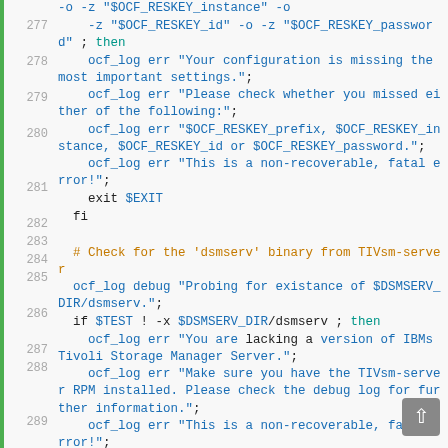[Figure (screenshot): Source code viewer showing shell script lines 277-292 with syntax highlighting. Line numbers in gray on left, green vertical bar separator, code on right with blue, orange, teal, and black colored tokens.]